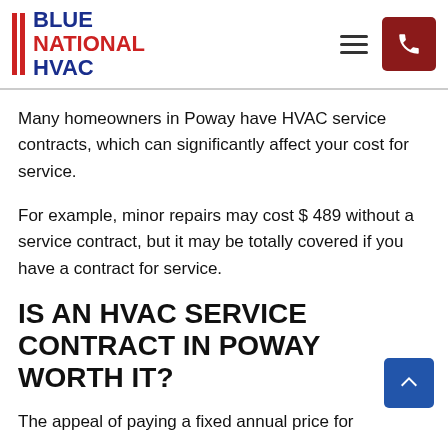BLUE NATIONAL HVAC
Many homeowners in Poway have HVAC service contracts, which can significantly affect your cost for service.
For example, minor repairs may cost $ 489 without a service contract, but it may be totally covered if you have a contract for service.
IS AN HVAC SERVICE CONTRACT IN POWAY WORTH IT?
The appeal of paying a fixed annual price for